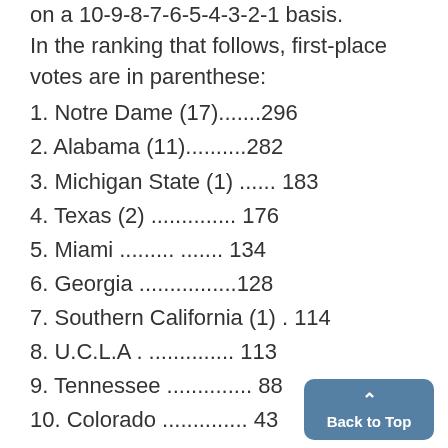on a 10-9-8-7-6-5-4-3-2-1 basis. In the ranking that follows, first-place votes are in parenthese:
1. Notre Dame (17).......296
2. Alabama (11)..........282
3. Michigan State (1) ...... 183
4. Texas (2) .............. 176
5. Miami ......... ....... 134
6. Georgia ................128
7. Southern California (1) . 114
8. U.C.L.A . .............. 113
9. Tennessee .............. 88
10. Colorado .............. 43